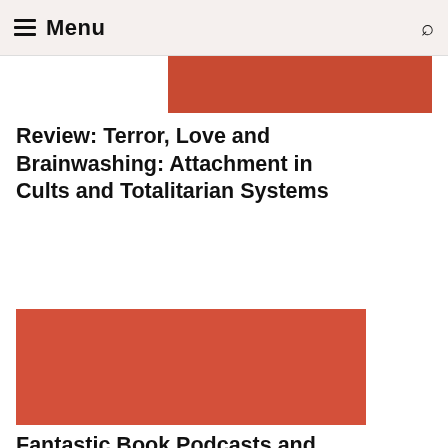Menu
[Figure (photo): Partial red/dark image at the top of the page, cropped]
Review: Terror, Love and Brainwashing: Attachment in Cults and Totalitarian Systems
[Figure (photo): Solid red/terra-cotta colored image block]
Fantastic Book Podcasts and Where to Find Them